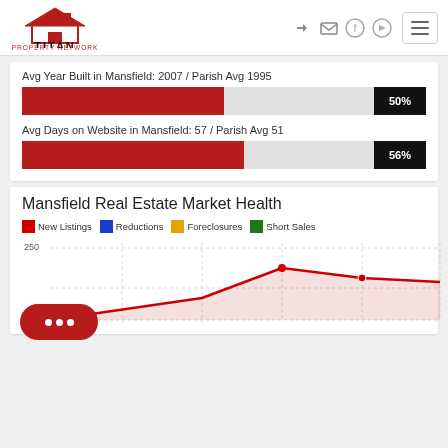[Figure (logo): Titan Property Network logo with red house roof icon]
Avg Year Built in Mansfield: 2007 / Parish Avg 1995
[Figure (bar-chart): Avg Year Built]
Avg Days on Website in Mansfield: 57 / Parish Avg 51
[Figure (bar-chart): Avg Days on Website]
Mansfield Real Estate Market Health
[Figure (line-chart): Line chart showing New Listings (red), Reductions (blue), Foreclosures (orange), Short Sales (green). Y-axis shows 150 and 250. Red line peaks around 200 area.]